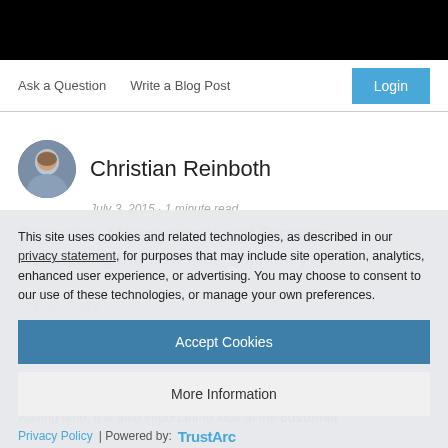Ask a Question   Write a Blog Post
Login
Christian Reinboth
July 3, 2015 · 1 minute read
Operation Management and Process: Calculating the flow time efficiency
474
This site uses cookies and related technologies, as described in our privacy statement, for purposes that may include site operation, analytics, enhanced user experience, or advertising. You may choose to consent to our use of these technologies, or manage your own preferences.
Accept Cookies
More Information
Privacy Policy | Powered by: TrustArc
Instead of simply trying to optimize processes in order to cut down on waiting time, it is also important to look at the customer